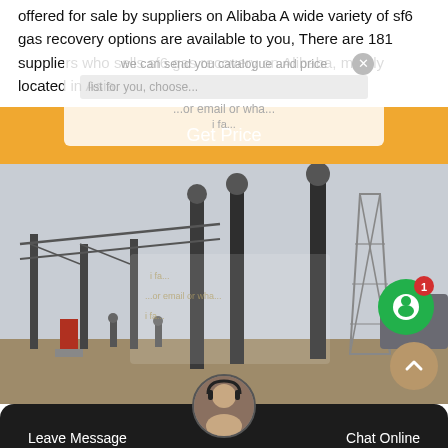offered for sale by suppliers on Alibaba A wide variety of sf6 gas recovery options are available to you, There are 181 suppliers who sells sf6 gas recovery on Alibaba, mainly located in Asia.
[Figure (screenshot): Orange 'Get Price' button and overlay popup with close button, text fields, and catalogue/price offer text]
[Figure (photo): Electrical substation with high-voltage equipment, transformers and transmission towers under construction]
[Figure (screenshot): Green circular chat icon with white speech bubble and red notification badge showing '1']
[Figure (screenshot): Dark bottom navigation bar with 'Leave Message' and 'Chat Online' buttons, and a customer service agent avatar in the center]